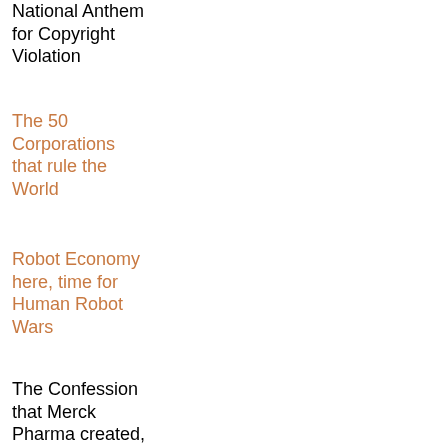National Anthem for Copyright Violation
The 50 Corporations that rule the World
Robot Economy here, time for Human Robot Wars
The Confession that Merck Pharma created, spread AIDS